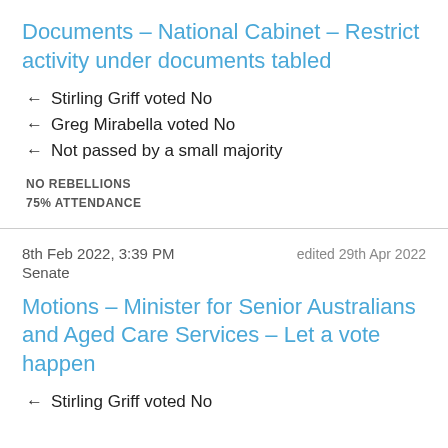Documents - National Cabinet - Restrict activity under documents tabled
← Stirling Griff voted No
← Greg Mirabella voted No
← Not passed by a small majority
NO REBELLIONS
75% ATTENDANCE
8th Feb 2022, 3:39 PM
Senate
edited 29th Apr 2022
Motions - Minister for Senior Australians and Aged Care Services - Let a vote happen
← Stirling Griff voted No